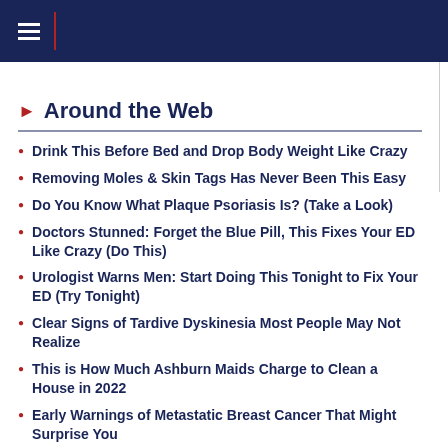Around the Web
Drink This Before Bed and Drop Body Weight Like Crazy
Removing Moles & Skin Tags Has Never Been This Easy
Do You Know What Plaque Psoriasis Is? (Take a Look)
Doctors Stunned: Forget the Blue Pill, This Fixes Your ED Like Crazy (Do This)
Urologist Warns Men: Start Doing This Tonight to Fix Your ED (Try Tonight)
Clear Signs of Tardive Dyskinesia Most People May Not Realize
This is How Much Ashburn Maids Charge to Clean a House in 2022
Early Warnings of Metastatic Breast Cancer That Might Surprise You